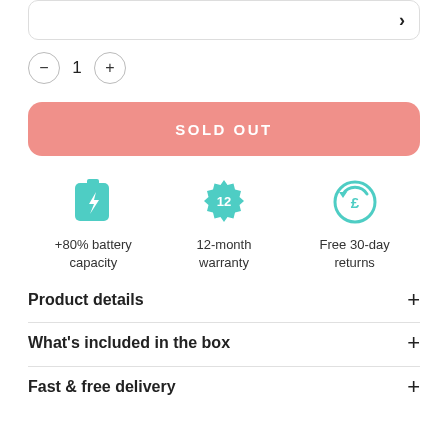[Figure (screenshot): Top dropdown/selector bar with right arrow]
- 1 +
SOLD OUT
[Figure (infographic): Three feature icons: +80% battery capacity, 12-month warranty, Free 30-day returns]
Product details +
What's included in the box +
Fast & free delivery +